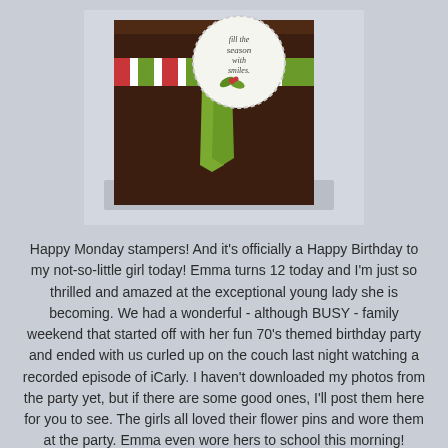[Figure (photo): A dark brown gift box or card with a red and white and green diagonal striped ribbon band across the middle, a green ribbon tail hanging down, and a circular white badge with dashed border reading 'fill the season with smiles' and a holly leaf decoration.]
Happy Monday stampers! And it's officially a Happy Birthday to my not-so-little girl today! Emma turns 12 today and I'm just so thrilled and amazed at the exceptional young lady she is becoming. We had a wonderful - although BUSY - family weekend that started off with her fun 70's themed birthday party and ended with us curled up on the couch last night watching a recorded episode of iCarly. I haven't downloaded my photos from the party yet, but if there are some good ones, I'll post them here for you to see. The girls all loved their flower pins and wore them at the party. Emma even wore hers to school this morning!